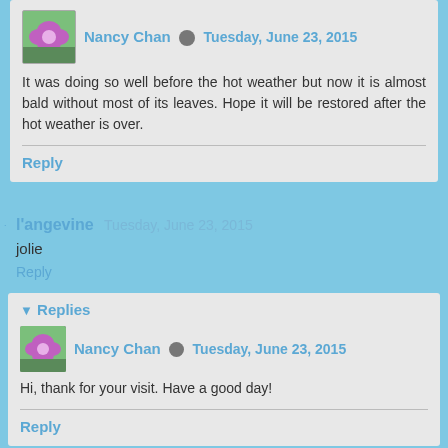Nancy Chan  Tuesday, June 23, 2015
It was doing so well before the hot weather but now it is almost bald without most of its leaves. Hope it will be restored after the hot weather is over.
Reply
l'angevine  Tuesday, June 23, 2015
jolie
Reply
Replies
Nancy Chan  Tuesday, June 23, 2015
Hi, thank for your visit. Have a good day!
Reply